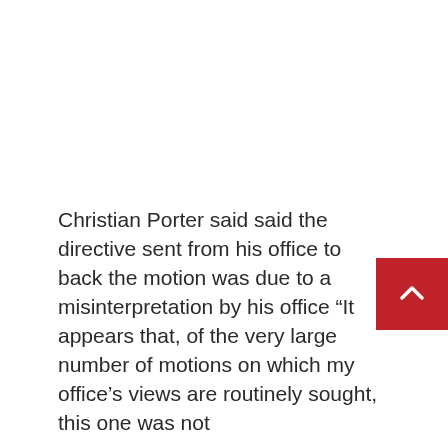Christian Porter said said the directive sent from his office to back the motion was due to a misinterpretation by his office “It appears that, of the very large number of motions on which my office’s views are routinely sought, this one was not